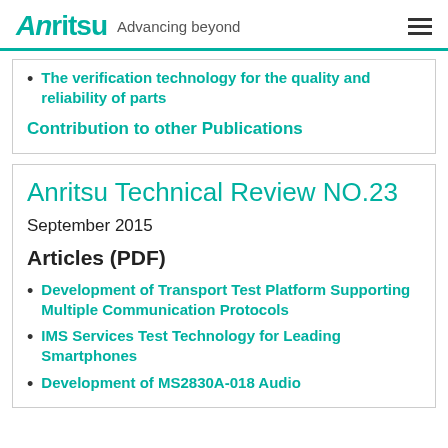Anritsu Advancing beyond
The verification technology for the quality and reliability of parts
Contribution to other Publications
Anritsu Technical Review NO.23
September 2015
Articles (PDF)
Development of Transport Test Platform Supporting Multiple Communication Protocols
IMS Services Test Technology for Leading Smartphones
Development of MS2830A-018 Audio